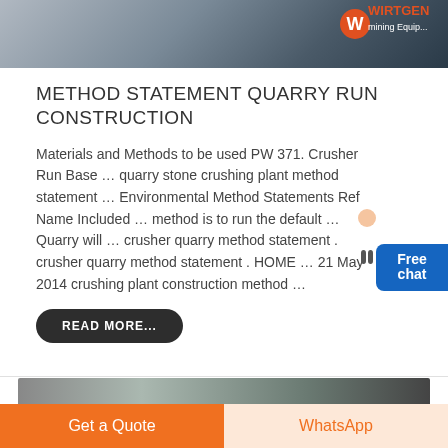[Figure (photo): Top banner image showing industrial machinery/quarry equipment with a company logo in the top right corner]
METHOD STATEMENT QUARRY RUN CONSTRUCTION
Materials and Methods to be used PW 371. Crusher Run Base … quarry stone crushing plant method statement … Environmental Method Statements Ref Name Included … method is to run the default … Quarry will … crusher quarry method statement . crusher quarry method statement . HOME … 21 May 2014 crushing plant construction method …
[Figure (illustration): Free chat widget with a small female figure illustration and a blue button labeled Free chat]
READ MORE...
[Figure (photo): Bottom partial banner image showing industrial/quarry scene]
Get a Quote
WhatsApp